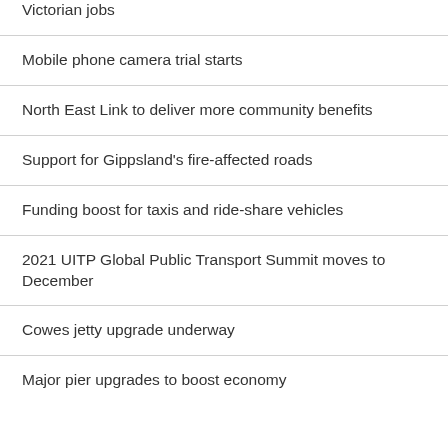Victorian jobs
Mobile phone camera trial starts
North East Link to deliver more community benefits
Support for Gippsland's fire-affected roads
Funding boost for taxis and ride-share vehicles
2021 UITP Global Public Transport Summit moves to December
Cowes jetty upgrade underway
Major pier upgrades to boost economy